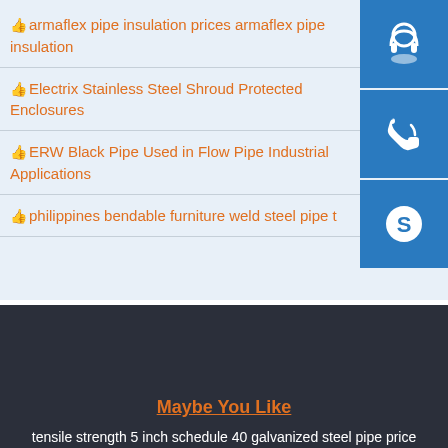armaflex pipe insulation prices armaflex pipe insulation
Electrix Stainless Steel Shroud Protected Enclosures
ERW Black Pipe Used in Flow Pipe Industrial Applications
philippines bendable furniture weld steel pipe t
[Figure (infographic): Three blue square buttons on the right sidebar: headset/support icon, phone icon, and Skype icon]
Maybe You Like
tensile strength 5 inch schedule 40 galvanized steel pipe price